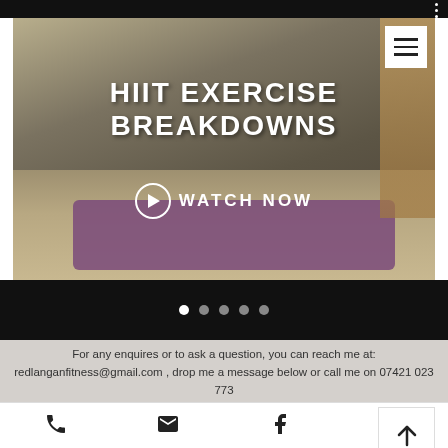[Figure (screenshot): Screenshot of a fitness website showing a HIIT exercise breakdowns hero section with a person doing a plank/push-up on a purple mat, menu button, watch now button, navigation dots, contact text, name input field, scroll-to-top button, and bottom navigation bar with phone, email, facebook, and instagram icons.]
HIIT EXERCISE BREAKDOWNS
WATCH NOW
For any enquires or to ask a question, you can reach me at: redlanganfitness@gmail.com , drop me a message below or call me on 07421 023 773
Name *